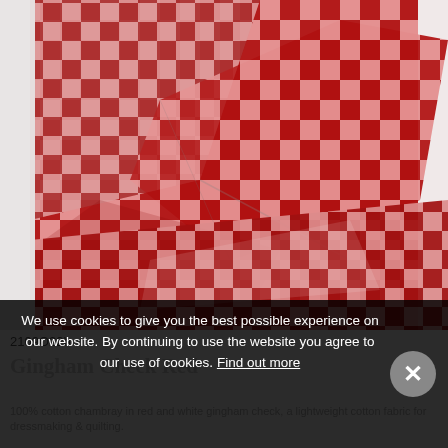[Figure (photo): Red and white gingham check fabric folded in layers, showing a cotton chambray textile with a classic checkered pattern in deep red/crimson and white squares.]
2109O22b
Gingham Check Red
100% cotton chambray in red and white gingham check, a lightweight cotton fabric for dressmaking & quilting.
We use cookies to give you the best possible experience on our website. By continuing to use the website you agree to our use of cookies. Find out more